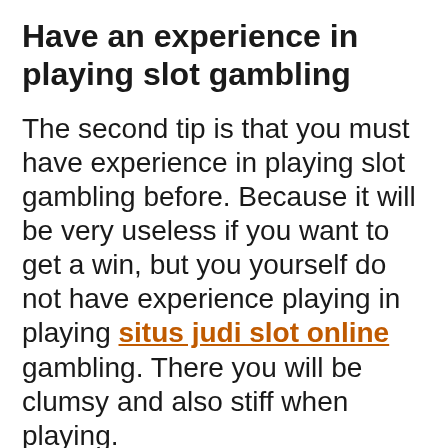Have an experience in playing slot gambling
The second tip is that you must have experience in playing slot gambling before. Because it will be very useless if you want to get a win, but you yourself do not have experience playing in playing situs judi slot online gambling. There you will be clumsy and also stiff when playing.
That is of course very, very dangerous, especially for slot gamblers. Therefore I suggest to you that, you just try the free games that are presented on the internet. That